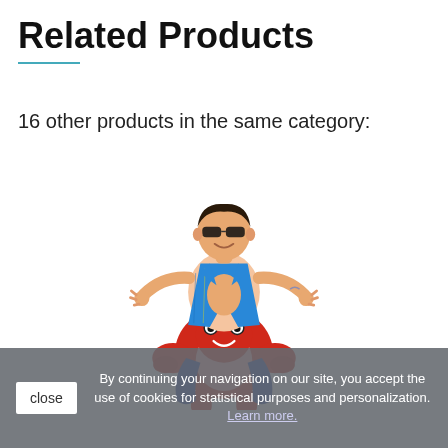Related Products
16 other products in the same category:
[Figure (photo): A man wearing sunglasses and an open blue Hawaiian shirt, sitting on a red lobster costume/carry-me costume, arms spread wide, smiling.]
By continuing your navigation on our site, you accept the use of cookies for statistical purposes and personalization. Learn more.